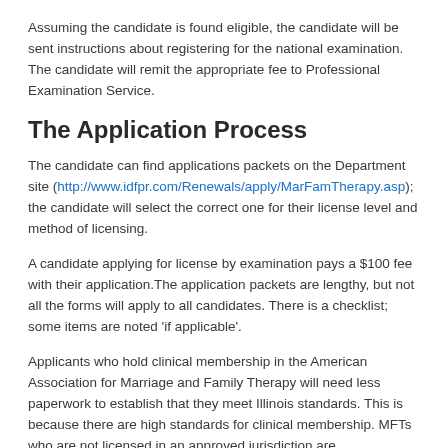Assuming the candidate is found eligible, the candidate will be sent instructions about registering for the national examination. The candidate will remit the appropriate fee to Professional Examination Service.
The Application Process
The candidate can find applications packets on the Department site (http://www.idfpr.com/Renewals/apply/MarFamTherapy.asp); the candidate will select the correct one for their license level and method of licensing.
A candidate applying for license by examination pays a $100 fee with their application.The application packets are lengthy, but not all the forms will apply to all candidates. There is a checklist; some items are noted 'if applicable'.
Applicants who hold clinical membership in the American Association for Marriage and Family Therapy will need less paperwork to establish that they meet Illinois standards. This is because there are high standards for clinical membership. MFTs who are not licensed in an approved jurisdiction are...